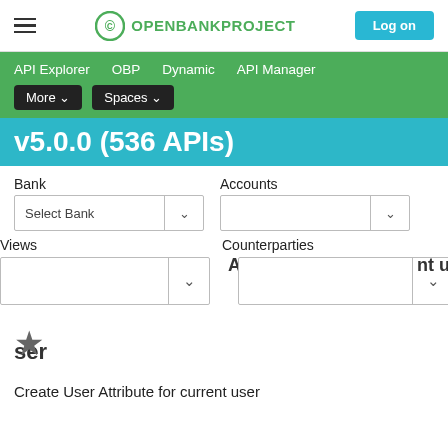Open Bank Project — Log on
API Explorer   OBP   Dynamic   API Manager   More ▾   Spaces ▾
v5.0.0 (536 APIs)
Bank
Accounts
Select Bank
Views
Counterparties
ser
★
Create User Attribute for current user